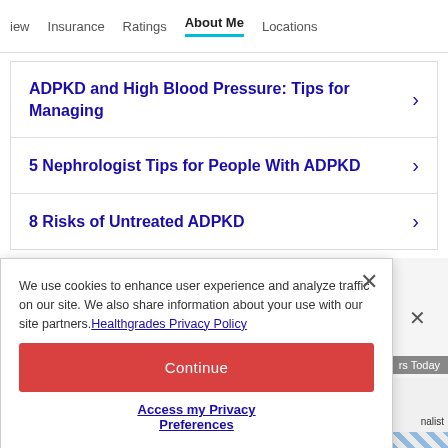iew   Insurance   Ratings   About Me   Locations
ADPKD and High Blood Pressure: Tips for Managing
5 Nephrologist Tips for People With ADPKD
8 Risks of Untreated ADPKD
We use cookies to enhance user experience and analyze traffic on our site. We also share information about your use with our site partners. Healthgrades Privacy Policy
Continue
Access my Privacy Preferences